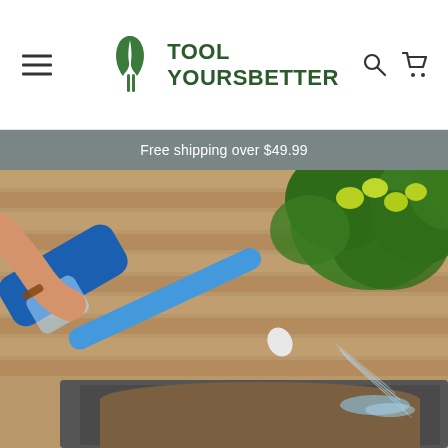TOOL YOURSBETTER — navigation header with hamburger menu, logo, search and cart icons
Free shipping over $49.99
[Figure (photo): A person holding a blue garden hose sprayer/water gun, spraying water into a large planter pot with soil. A lemon/lime tree with green fruit is visible in the background against a stone brick wall.]